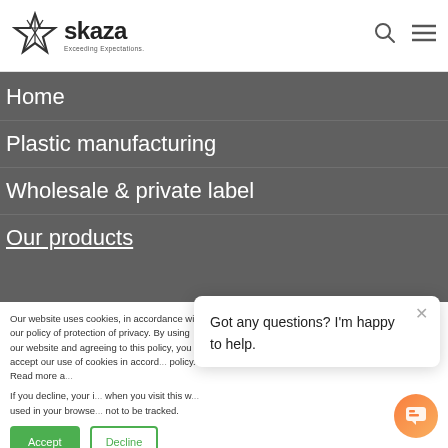[Figure (logo): Skaza logo with star icon and text 'skaza' and tagline 'Exceeding Expectations.']
Home
Plastic manufacturing
Wholesale & private label
Our products
Our website uses cookies, in accordance with our policy of protection of privacy. By using our website and agreeing to this policy, you accept our use of cookies in accord ance with the terms of this policy. Read more a
If you decline, your information won't be tracked when you visit this w ebsite. A single cookie will be used in your browser to remember your preference not to be tracked.
Got any questions? I'm happy to help.